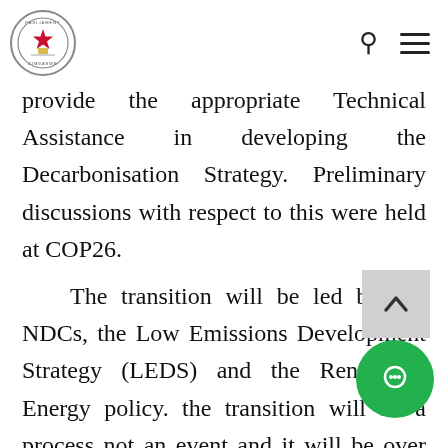Parliament Zimbabwe logo with search and menu icons
provide the appropriate Technical Assistance in developing the Decarbonisation Strategy. Preliminary discussions with respect to this were held at COP26.

The transition will be led by our NDCs, the Low Emissions Development Strategy (LEDS) and the Renewable Energy policy. the transition will be a process not an event and it will be over years

For this to happen commitment to financing by